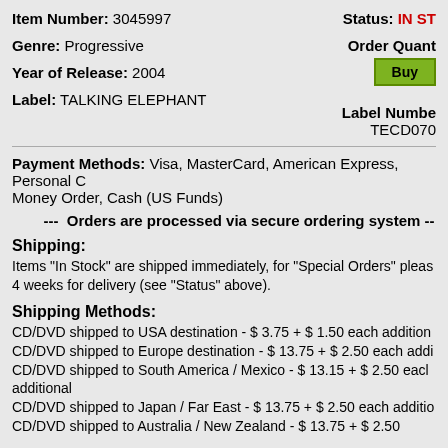Item Number: 3045997
Status: IN ST...
Genre: Progressive
Order Quant...
Buy
Year of Release: 2004
Label: TALKING ELEPHANT
Label Number: TECD070
Payment Methods: Visa, MasterCard, American Express, Personal C... Money Order, Cash (US Funds)
--- Orders are processed via secure ordering system ---
Shipping:
Items "In Stock" are shipped immediately, for "Special Orders" pleas... 4 weeks for delivery (see "Status" above).
Shipping Methods:
CD/DVD shipped to USA destination - $ 3.75 + $ 1.50 each addition CD/DVD shipped to Europe destination - $ 13.75 + $ 2.50 each addi CD/DVD shipped to South America / Mexico - $ 13.15 + $ 2.50 each additional CD/DVD shipped to Japan / Far East - $ 13.75 + $ 2.50 each additio CD/DVD shipped to Australia / New Zealand $ 13.75 + $ 2.50